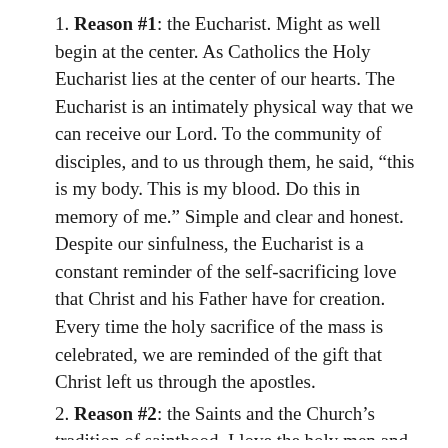1. Reason #1: the Eucharist. Might as well begin at the center. As Catholics the Holy Eucharist lies at the center of our hearts. The Eucharist is an intimately physical way that we can receive our Lord. To the community of disciples, and to us through them, he said, “this is my body. This is my blood. Do this in memory of me.” Simple and clear and honest. Despite our sinfulness, the Eucharist is a constant reminder of the self-sacrificing love that Christ and his Father have for creation. Every time the holy sacrifice of the mass is celebrated, we are reminded of the gift that Christ left us through the apostles.
2. Reason #2: the Saints and the Church’s tradition of sainthood. I love the holy men and women who set out for us such an excellent example of what it means to be a follower of Christ [Editor’s note: